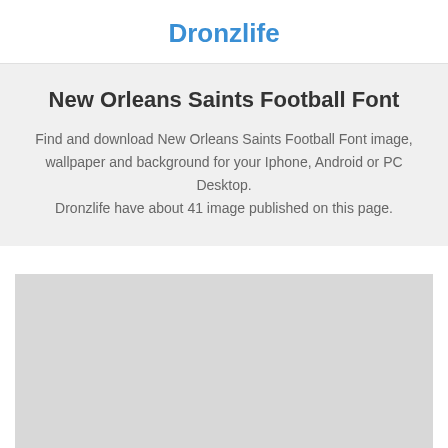Dronzlife
New Orleans Saints Football Font
Find and download New Orleans Saints Football Font image, wallpaper and background for your Iphone, Android or PC Desktop.
Dronzlife have about 41 image published on this page.
[Figure (other): Light gray placeholder rectangle representing an image area]